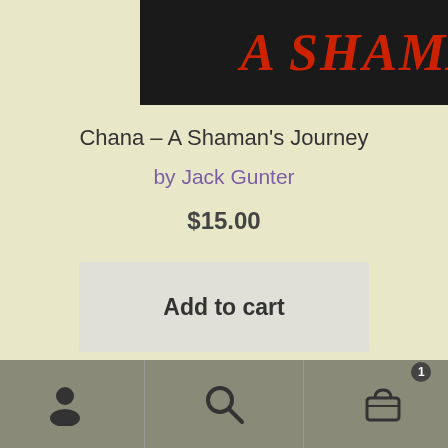[Figure (illustration): Book cover banner with text 'A Shaman's Journey' in red italic letters on black background]
Chana – A Shaman's Journey
by Jack Gunter
$15.00
Add to cart
[Figure (photo): Black background with curved text 'THE MOST ADVANCED COLLECTOR' in pink/white stylized letters, with circular vinyl record shapes visible at the bottom]
Navigation bar with user icon, search icon, and cart icon with badge showing 1